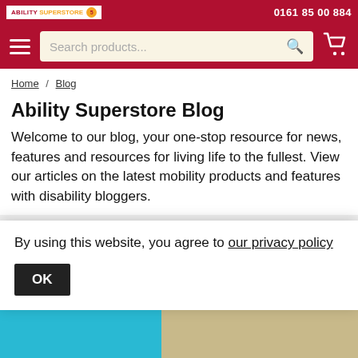Ability Superstore logo | 0161 85 00 884
[Figure (screenshot): Navigation bar with hamburger menu, search box with placeholder 'Search products...', and shopping cart icon on dark red background]
Home / Blog
Ability Superstore Blog
Welcome to our blog, your one-stop resource for news, features and resources for living life to the fullest. View our articles on the latest mobility products and features with disability bloggers.
≡ IN: ALL POSTS
W...
Po...
By using this website, you agree to our privacy policy
OK